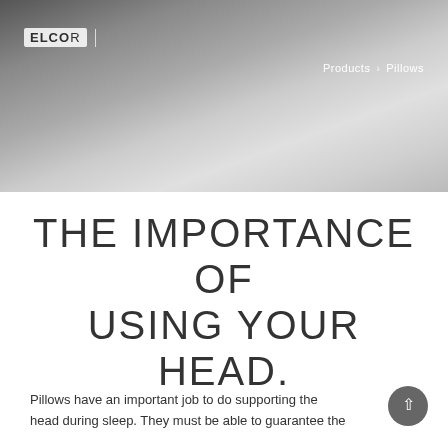[Figure (photo): Gradient header banner with a dark-to-light grey gradient background, a logo/brand name in the top-left with a divider line, and breadcrumb navigation 'Products > Pillows' in white text on the right.]
Products > Pillows
THE IMPORTANCE OF USING YOUR HEAD.
Pillows have an important job to do supporting the head during sleep. They must be able to guarantee the